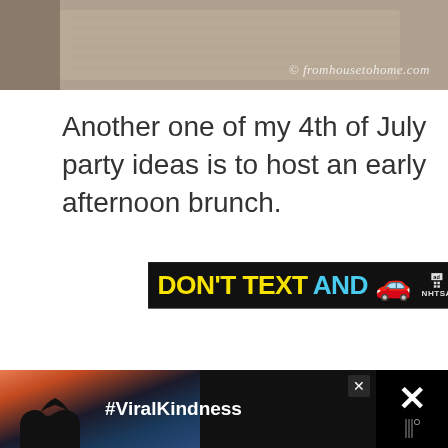[Figure (photo): Close-up photo of what appears to be metallic/silver objects (silverware or tools) with a watermark reading '© fromhousetohome.com']
Another one of my 4th of July party ideas is to host an early afternoon brunch.
[Figure (other): Advertisement banner: 'DON'T TEXT AND [car emoji]' with NHTSA ad logo, black background, yellow and cyan text]
[Figure (other): Bottom advertisement banner with '#ViralKindness' text, silhouette of hands forming a heart shape, sunset background]